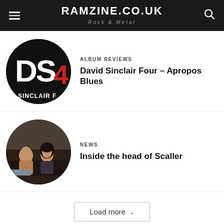RAMZINE.CO.UK — Rock & Metal
[Figure (photo): Circular cropped album art for David Sinclair Four — DS4 text on black background with red numeral 4]
ALBUM REVIEWS
David Sinclair Four – Apropos Blues
[Figure (photo): Circular cropped photo of two people (a man and a woman) sitting on a couch in a dark room — Scaller band photo]
NEWS
Inside the head of Scaller
Load more
Home › Reviews › Live Reviews